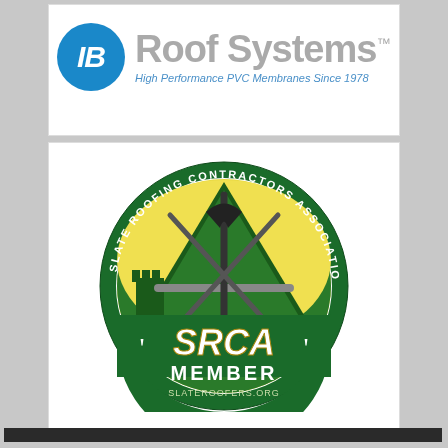[Figure (logo): IB Roof Systems logo with blue circle containing 'IB' in white italic text and 'Roof Systems' in gray bold text with TM mark, and tagline 'High Performance PVC Membranes Since 1978' in blue italic text]
[Figure (logo): SRCA (Slate Roofing Contractors Association) circular member badge. Dark green outer ring with white text reading 'SLATE ROOFING CONTRACTORS ASSOCIATION' around the perimeter. Center shows yellow/green background with dark green triangle, a roofing pick/hammer and nails crossed, a castle/tower silhouette on lower left, and bold white text 'SRCA' in the lower portion with 'MEMBER' below it and 'SLATEROOFERS.ORG' at the bottom.]